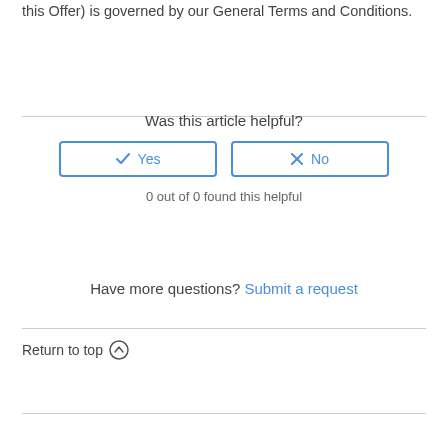this Offer) is governed by our General Terms and Conditions.
Was this article helpful?
0 out of 0 found this helpful
Have more questions? Submit a request
Return to top ↑